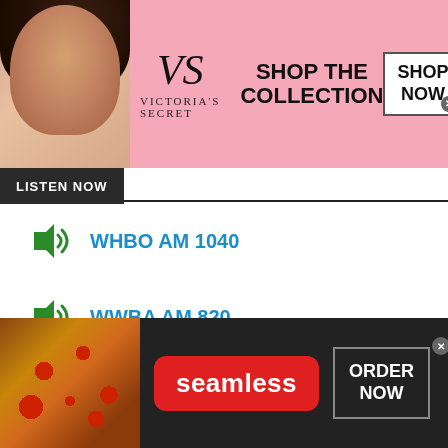[Figure (photo): Victoria's Secret advertisement banner with model, VS logo, 'SHOP THE COLLECTION' text, and 'SHOP NOW' button on pink background]
LISTEN NOW
WHBO AM 1040
WWBA AM 820
Contact Us
Sports Talk Florida Newsletter
[Figure (photo): Seamless food delivery advertisement with pizza image, Seamless logo in red badge, and 'ORDER NOW' button on dark background]